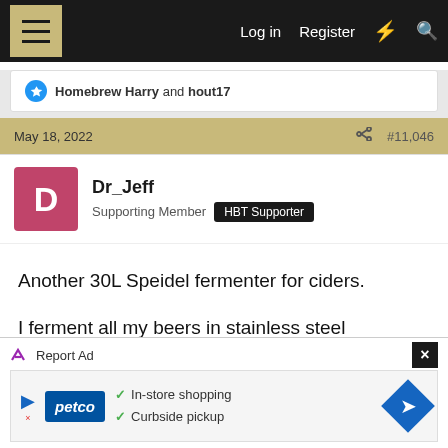Log in  Register
Homebrew Harry and hout17
May 18, 2022  #11,046
Dr_Jeff
Supporting Member  HBT Supporter
Another 30L Speidel fermenter for ciders.

I ferment all my beers in stainless steel kegmenters.
Reply
Hoppy2bmerry, Homebrew Harry, JAReeves and 1 other person
[Figure (screenshot): Petco advertisement showing In-store shopping and Curbside pickup options]
Report Ad